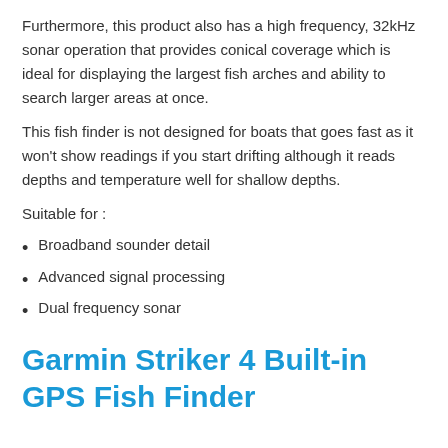Furthermore, this product also has a high frequency, 32kHz sonar operation that provides conical coverage which is ideal for displaying the largest fish arches and ability to search larger areas at once.
This fish finder is not designed for boats that goes fast as it won't show readings if you start drifting although it reads depths and temperature well for shallow depths.
Suitable for :
Broadband sounder detail
Advanced signal processing
Dual frequency sonar
Garmin Striker 4 Built-in GPS Fish Finder